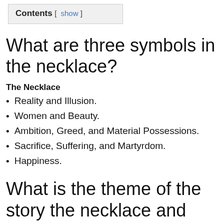Contents [ show ]
What are three symbols in the necklace?
The Necklace
Reality and Illusion.
Women and Beauty.
Ambition, Greed, and Material Possessions.
Sacrifice, Suffering, and Martyrdom.
Happiness.
What is the theme of the story the necklace and how